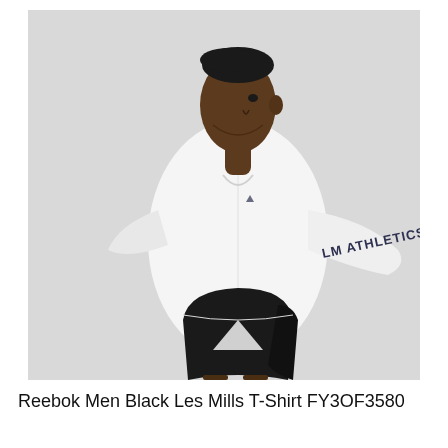[Figure (photo): A man wearing a white long-sleeve shirt with 'LM ATHLETICS' printed on the sleeve and black athletic shorts, posed against a light grey background.]
Reebok Men Black Les Mills T-Shirt FY3OF3580